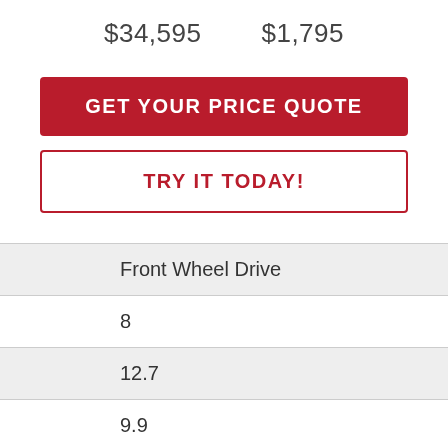$34,595    $1,795
GET YOUR PRICE QUOTE
TRY IT TODAY!
Front Wheel Drive
8
12.7
9.9
Regular Unleaded V-6